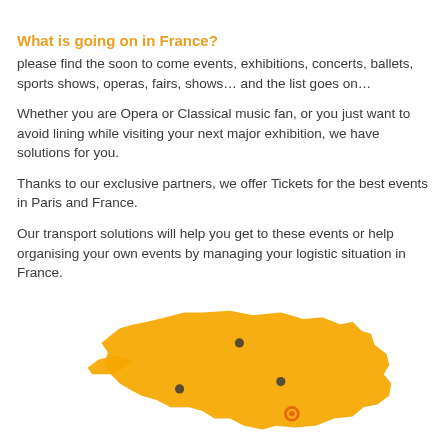What is going on in France?
please find the soon to come events, exhibitions, concerts, ballets, sports shows, operas, fairs, shows… and the list goes on…
Whether you are Opera or Classical music fan, or you just want to avoid lining while visiting your next major exhibition, we have solutions for you.
Thanks to our exclusive partners, we offer Tickets for the best events in Paris and France.
Our transport solutions will help you get to these events or help organising your own events by managing your logistic situation in France.
[Figure (map): Orange silhouette map of France with dark dots marking city locations]